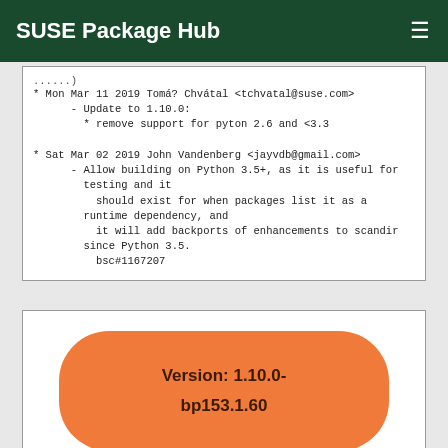SUSE Package Hub
* Mon Mar 11 2019 Tomá? Chvátal <tchvatal@suse.com>
      - Update to 1.10.0:
        * remove support for pyton 2.6 and <3.3

* Sat Mar 02 2019 John Vandenberg <jayvdb@gmail.com>
      - Allow building on Python 3.5+, as it is useful for testing and it
          should exist for when packages list it as a runtime dependency, and
          it will add backports of enhancements to scandir since Python 3.5.
          bsc#1167207
[Figure (other): Orange pill/badge showing version: 1.10.0-bp153.1.60]